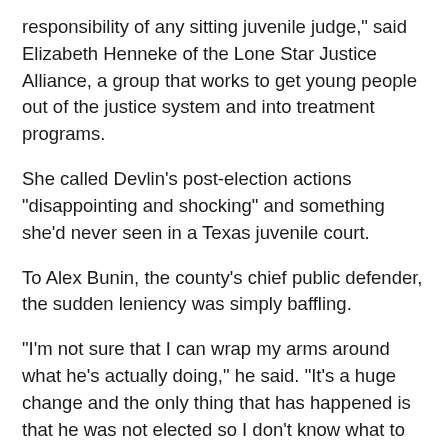responsibility of any sitting juvenile judge," said Elizabeth Henneke of the Lone Star Justice Alliance, a group that works to get young people out of the justice system and into treatment programs.
She called Devlin's post-election actions "disappointing and shocking" and something she'd never seen in a Texas juvenile court.
To Alex Bunin, the county's chief public defender, the sudden leniency was simply baffling.
"I'm not sure that I can wrap my arms around what he's actually doing," he said. "It's a huge change and the only thing that has happened is that he was not elected so I don't know what to attribute it to other than that."
To Jay Jenkins, a policy attorney with the Texas Criminal Justice Coalition, the post-election spate of releases